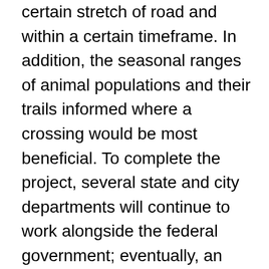certain stretch of road and within a certain timeframe. In addition, the seasonal ranges of animal populations and their trails informed where a crossing would be most beneficial. To complete the project, several state and city departments will continue to work alongside the federal government; eventually, an overpass will be built and equipped with cameras. Whether in the form of greened tunnels or bridges, our roads are slowly becoming more friendly to our car-less friends. Wildlife crossings have already proven to reduce wildlife-vehicular collisions, enabling animals to safely move across highways. Overpasses and underpasses are also helping wildlife in more subtle and long-term ways, like through supporting migration patterns and connecting isolated populations from different corridors. Our highways are the arteries of our communities: it's about time our local, state, and federal governments work to support the movement and